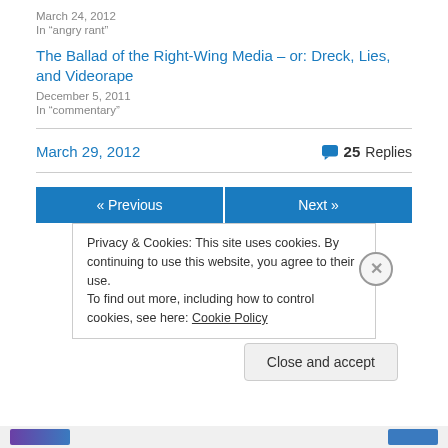March 24, 2012
In "angry rant"
The Ballad of the Right-Wing Media – or: Dreck, Lies, and Videorape
December 5, 2011
In "commentary"
March 29, 2012
25 Replies
« Previous
Next »
Privacy & Cookies: This site uses cookies. By continuing to use this website, you agree to their use.
To find out more, including how to control cookies, see here: Cookie Policy
Close and accept